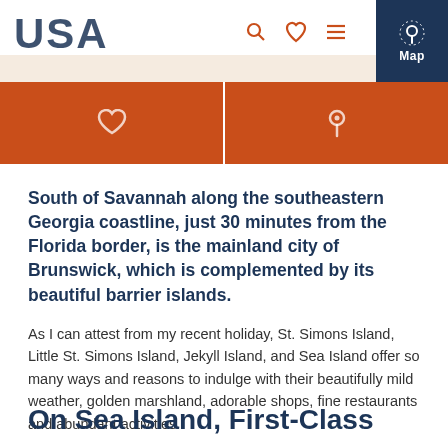VisitTheUSA.se — Map
[Figure (screenshot): Website header with USA logo, search/heart/menu icons, and dark blue Map button]
South of Savannah along the southeastern Georgia coastline, just 30 minutes from the Florida border, is the mainland city of Brunswick, which is complemented by its beautiful barrier islands.
As I can attest from my recent holiday, St. Simons Island, Little St. Simons Island, Jekyll Island, and Sea Island offer so many ways and reasons to indulge with their beautifully mild weather, golden marshland, adorable shops, fine restaurants and abundant activities.
On Sea Island, First-Class